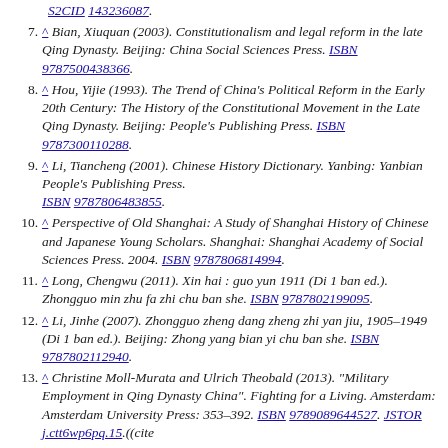S2CID 143236087.
7. ^ Bian, Xiuquan (2003). Constitutionalism and legal reform in the late Qing Dynasty. Beijing: China Social Sciences Press. ISBN 9787500438366.
8. ^ Hou, Yijie (1993). The Trend of China's Political Reform in the Early 20th Century: The History of the Constitutional Movement in the Late Qing Dynasty. Beijing: People's Publishing Press. ISBN 9787300110288.
9. ^ Li, Tiancheng (2001). Chinese History Dictionary. Yanbing: Yanbian People's Publishing Press. ISBN 9787806483855.
10. ^ Perspective of Old Shanghai: A Study of Shanghai History of Chinese and Japanese Young Scholars. Shanghai: Shanghai Academy of Social Sciences Press. 2004. ISBN 9787806814994.
11. ^ Long, Chengwu (2011). Xin hai : guo yun 1911 (Di 1 ban ed.). Zhongguo min zhu fa zhi chu ban she. ISBN 9787802199095.
12. ^ Li, Jinhe (2007). Zhongguo zheng dang zheng zhi yan jiu, 1905–1949 (Di 1 ban ed.). Beijing: Zhong yang bian yi chu ban she. ISBN 9787802112940.
13. ^ Christine Moll-Murata and Ulrich Theobald (2013). "Military Employment in Qing Dynasty China". Fighting for a Living. Amsterdam: Amsterdam University Press: 353–392. ISBN 9789089644527. JSTOR j.ctt6wp6pq.15.((cite